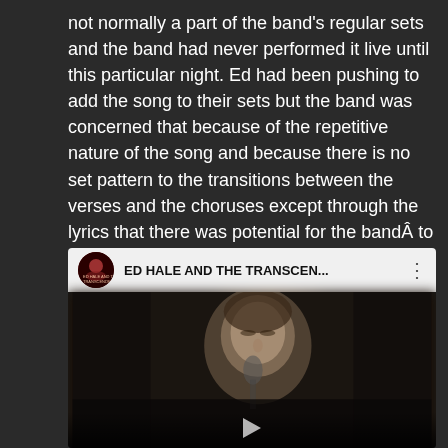not normally a part of the band's regular sets and the band had never performed it live until this particular night. Ed had been pushing to add the song to their sets but the band was concerned that because of the repetitive nature of the song and because there is no set pattern to the transitions between the verses and the choruses except through the lyrics that there was potential for the bandÂ to get lost. Hence bassist Roger plays it pretty safe and sticks close to Ed to hear the lyrics and to cue the drummer.
[Figure (screenshot): Embedded YouTube video player showing a blurry live performance video of Ed Hale and the Transcendence. The video header shows the channel name 'ED HALE AND THE TRANSCEN...' with a circular channel icon and a three-dot menu. The video frame shows a blurry close-up of a male performer holding a microphone.]